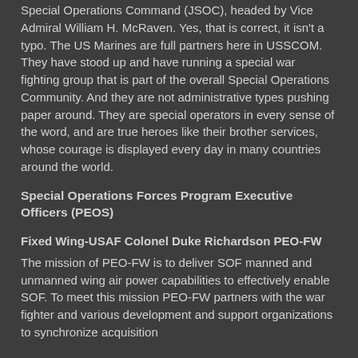Special Operations Command (JSOC), headed by Vice Admiral William H. McRaven. Yes, that is correct, it isn't a typo. The US Marines are full partners here in USSCOM. They have stood up and have running a special war fighting group that is part of the overall Special Operations Community. And they are not administrative types pushing paper around. They are special operators in every sense of the word, and are true heroes like their brother services, whose courage is displayed every day in many countries around the world.
Special Operations Forces Program Executive Officers (PEOS)
Fixed Wing-USAF Colonel Duke Richardson PEO-FW
The mission of PEO-FW is to deliver SOF manned and unmanned wing air power capabilities to effectively enable SOF. To meet this mission PEO-FW partners with the war fighter and various development and support organizations to synchronize acquisition